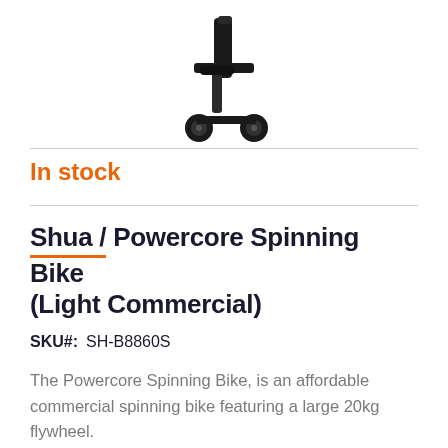[Figure (photo): Partial view of a black spinning bike/exercise bike showing the lower rear portion including wheels and frame against a white background]
In stock
Shua / Powercore Spinning Bike (Light Commercial)
SKU#:  SH-B8860S
The Powercore Spinning Bike, is an affordable commercial spinning bike featuring a large 20kg flywheel.